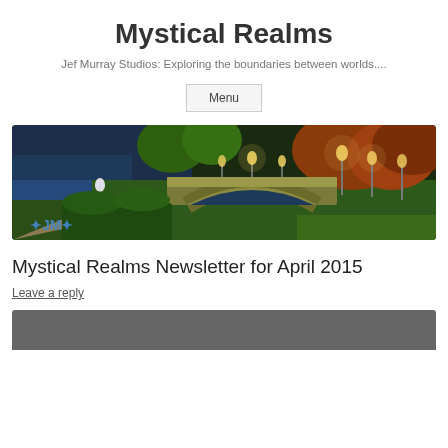Mystical Realms
Jef Murray Studios: Exploring the boundaries between worlds....
Menu
[Figure (illustration): Fantasy painting of a robed wizard figure standing near a stone arch bridge over a river at night, with glowing lanterns, lush greenery, autumn-colored trees, and an artist logo (stylized 'JM') in the lower left.]
Mystical Realms Newsletter for April 2015
Leave a reply
[Figure (illustration): Partial view of a second image with a dark gray/charcoal background, cropped at page bottom.]